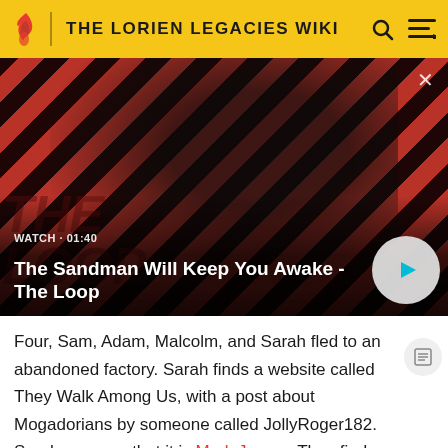THE LORIEN LEGACIES WIKI
[Figure (screenshot): Video thumbnail for 'The Sandman Will Keep You Awake - The Loop'. Shows a dark-cloaked figure with a black bird on shoulder against a red and dark diagonal striped background. WATCH • 01:40 label and play button visible.]
The Sandman Will Keep You Awake - The Loop
Four, Sam, Adam, Malcolm, and Sarah fled to an abandoned factory. Sarah finds a website called They Walk Among Us, with a post about Mogadorians by someone called JollyRoger182. Sarah guesses that it is Mark James. They find out that apparently an important